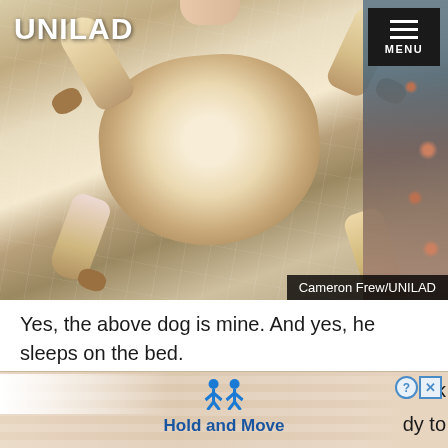[Figure (photo): A golden/yellow dog lying on its back on a white bed with legs in the air, photographed from above. A person in floral clothing is visible at the right edge. UNILAD logo in top-left, hamburger menu in top-right, photo credit 'Cameron Frew/UNILAD' in bottom-right.]
Yes, the above dog is mine. And yes, he sleeps on the bed.
There[cut off by ad] ck on, too[cut off by ad] dy to
[Figure (screenshot): Ad overlay banner reading 'Hold and Move' with two blue stick figure icons and close/question buttons in top-right corner.]